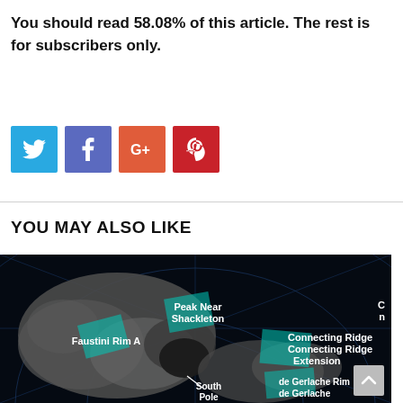You should read 58.08% of this article. The rest is for subscribers only.
[Figure (infographic): Social sharing buttons for Twitter (blue), Facebook (purple), Google+ (orange-red), and Pinterest (red)]
YOU MAY ALSO LIKE
[Figure (photo): Map of the Moon's south pole region showing labeled landing sites: Peak Near Shackleton, Faustini Rim A, Connecting Ridge, Connecting Ridge Extension, South Pole, de Gerlache Rim, de Gerlache (partially visible). Teal/cyan highlighted rectangles mark candidate landing zones on a dark lunar surface map with grid lines.]